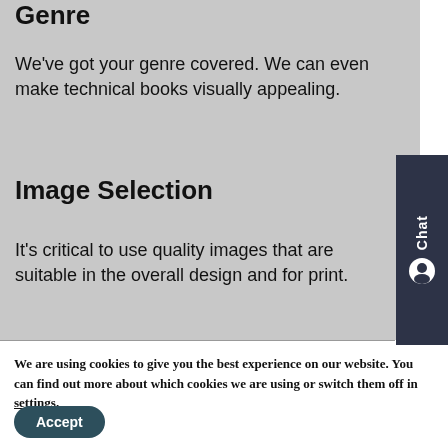Genre
We've got your genre covered. We can even make technical books visually appealing.
Image Selection
It's critical to use quality images that are suitable in the overall design and for print.
We are using cookies to give you the best experience on our website. You can find out more about which cookies we are using or switch them off in settings.